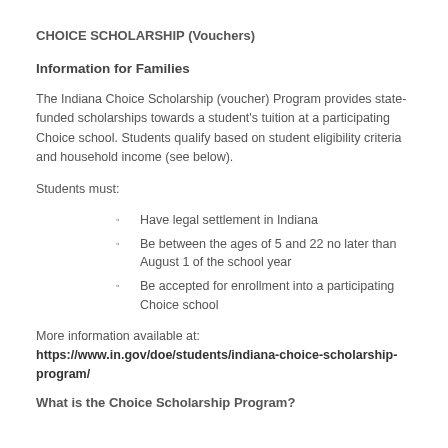CHOICE SCHOLARSHIP (Vouchers)
Information for Families
The Indiana Choice Scholarship (voucher) Program provides state-funded scholarships towards a student's tuition at a participating Choice school. Students qualify based on student eligibility criteria and household income (see below).
Students must:
Have legal settlement in Indiana
Be between the ages of 5 and 22 no later than August 1 of the school year
Be accepted for enrollment into a participating Choice school
More information available at:
https://www.in.gov/doe/students/indiana-choice-scholarship-program/
What is the Choice Scholarship Program?